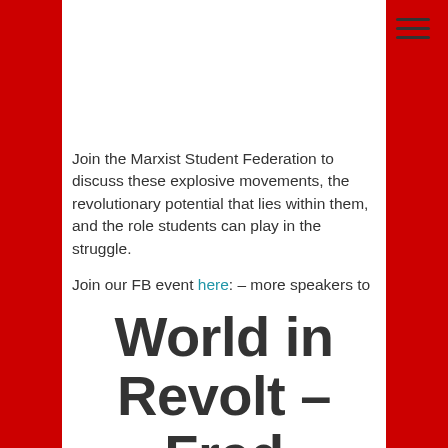[Figure (other): Hamburger menu icon (three horizontal lines) in top right corner]
Join the Marxist Student Federation to discuss these explosive movements, the revolutionary potential that lies within them, and the role students can play in the struggle.

Join our FB event here: – more speakers to be confirmed.
World in Revolt – Fred Weston, editor of www.marxist.com